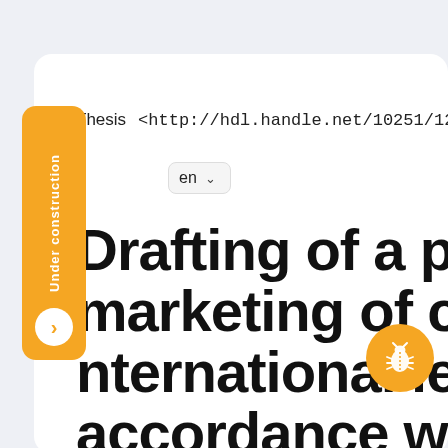Thesis  <http://hdl.handle.net/10251/126147>
Drafting of a protocol for marketing of chemicals at international level in accordance with the Globally Harmonised System Of